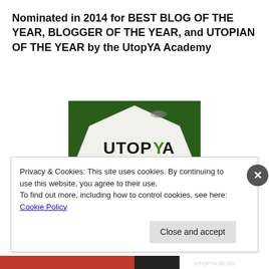Nominated in 2014 for BEST BLOG OF THE YEAR, BLOGGER OF THE YEAR, and UTOPIAN OF THE YEAR by the UtopYA Academy
[Figure (illustration): UtopYA Awards 2014 Nominee badge: hexagonal white shape on green textured background with 'UtopYA' logo and 'AWARDS 2014 TAKE ME TO YOUR READER' subtitle and large bold 'NOMINEE' text]
Privacy & Cookies: This site uses cookies. By continuing to use this website, you agree to their use.
To find out more, including how to control cookies, see here: Cookie Policy